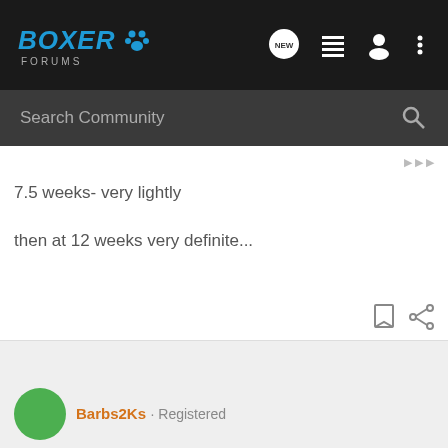BOXER FORUMS
Search Community
7.5 weeks- very lightly
then at 12 weeks very definite...
Barbs2Ks · Registered